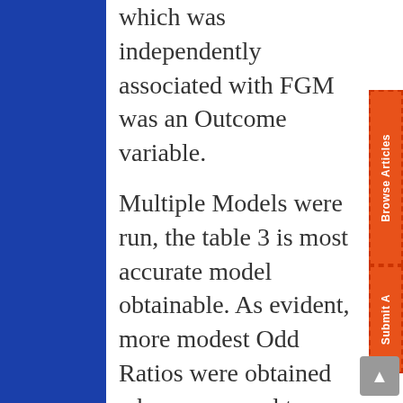which was independently associated with FGM was an Outcome variable. Multiple Models were run, the table 3 is most accurate model obtainable. As evident, more modest Odd Ratios were obtained when compared to singular tests of